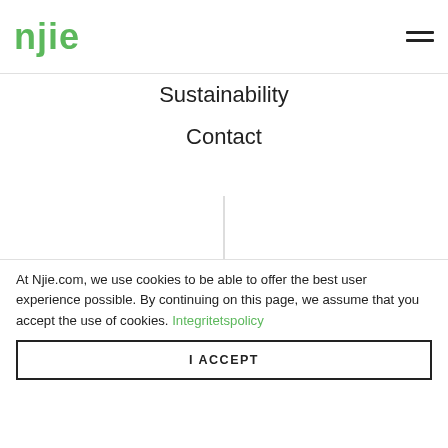njie
Sustainability
Contact
HEALTHY RECIPES & ARTICLES STRAIGHT TO YOUR INBOX
At Njie.com, we use cookies to be able to offer the best user experience possible. By continuing on this page, we assume that you accept the use of cookies. Integritetspolicy
I ACCEPT